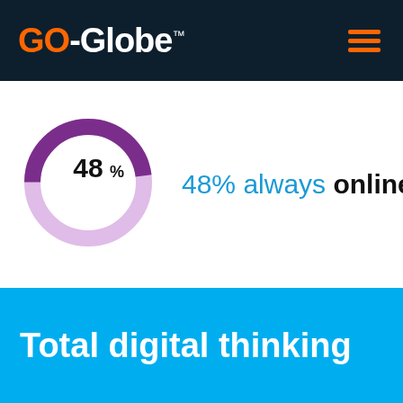GO-Globe™
[Figure (donut-chart): 48% always online]
48% always online
Total digital thinking